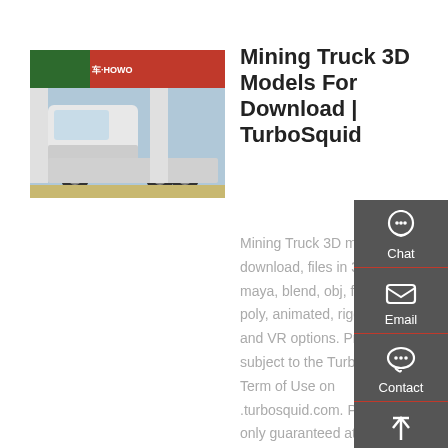[Figure (photo): A white semi-truck/tractor in front of a red and green HOWO branded building with Chinese signage in the background.]
Mining Truck 3D Models For Download | TurboSquid
Mining Truck 3D models for download, files in 3ds, max, maya, blend, obj, fbx with low poly, animated, rigged, game and VR options. Products are subject to the TurboSquid, Inc. Term of Use on .turbosquid.com. Prices are only guaranteed at the time of the creation of this
[Figure (infographic): Dark gray sidebar with Chat (headset icon), Email (envelope icon), Contact (speech bubble icon), and Top (up arrow icon) buttons, each separated by a red divider line.]